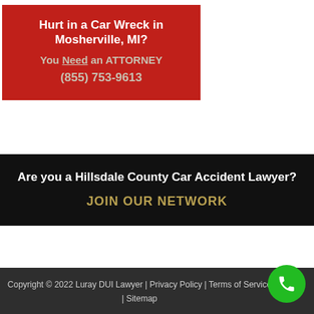[Figure (infographic): Red banner ad: 'Hurt in a Car Wreck in Mosherville, MI? You Need an ATTORNEY (855) 753-9613']
[Figure (infographic): Black banner ad: 'Are you a Hillsdale County Car Accident Lawyer? JOIN OUR NETWORK']
Copyright © 2022 Luray DUI Lawyer | Privacy Policy | Terms of Service | Sitemap